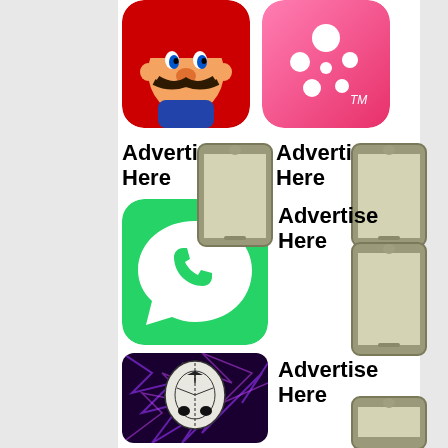[Figure (illustration): Mario app icon - Super Mario character with red hat on red background, rounded square shape]
[Figure (illustration): Pink app icon with white dots/circles on pink gradient background with TM mark, rounded square shape]
Advertise Here
[Figure (illustration): Placeholder phone/device icon in olive/gray tones]
Advertise Here
[Figure (illustration): Placeholder phone/device icon in olive/gray tones]
[Figure (illustration): WhatsApp app icon - white phone handset in speech bubble on green background]
Advertise Here
[Figure (illustration): Placeholder phone/device icon in olive/gray tones]
[Figure (illustration): Dark purple/brain app icon with skull/brain diagram illustration]
Advertise Here
[Figure (illustration): Placeholder phone/device icon in olive/gray tones]